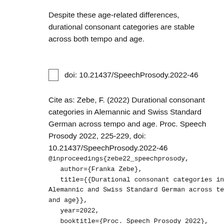Despite these age-related differences, durational consonant categories are stable across both tempo and age.
🔗   doi: 10.21437/SpeechProsody.2022-46
Cite as: Zebe, F. (2022) Durational consonant categories in Alemannic and Swiss Standard German across tempo and age. Proc. Speech Prosody 2022, 225-229, doi: 10.21437/SpeechProsody.2022-46
@inproceedings{zebe22_speechprosody,
   author={Franka Zebe},
   title={{Durational consonant categories in Alemannic and Swiss Standard German across tempo and age}},
   year=2022,
   booktitle={Proc. Speech Prosody 2022},
   pages={225--229},
   doi={10.21437/SpeechProsody.2022-46}
}